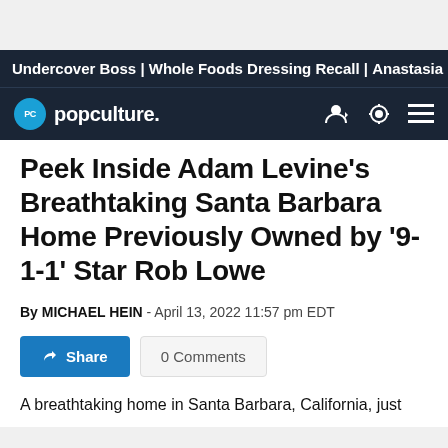Undercover Boss | Whole Foods Dressing Recall | Anastasia
[Figure (logo): popculture. logo with PC circle icon in blue]
Peek Inside Adam Levine's Breathtaking Santa Barbara Home Previously Owned by '9-1-1' Star Rob Lowe
By MICHAEL HEIN - April 13, 2022 11:57 pm EDT
Share | 0 Comments
A breathtaking home in Santa Barbara, California, just